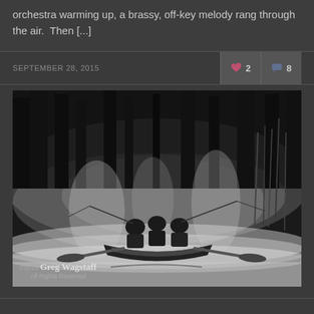orchestra warming up, a brassy, off-key melody rang through the air.  Then [...]
SEPTEMBER 28, 2015   ♥ 2   ✉ 8
[Figure (photo): Black and white photograph of three people fishing from a rowboat on a misty river or lake. The boat has oars extended on both sides. Tall trees are visible in the foggy background. A watermark reads '©2015 Greg Wagstaff All Rights Reserved' in the lower left corner.]